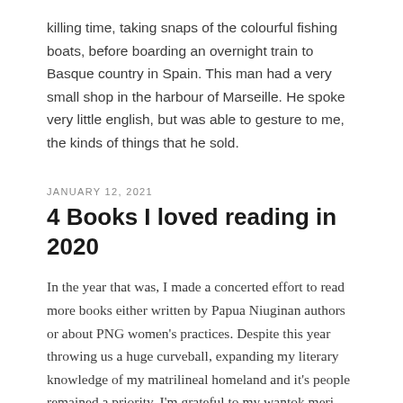killing time, taking snaps of the colourful fishing boats, before boarding an overnight train to Basque country in Spain. This man had a very small shop in the harbour of Marseille. He spoke very little english, but was able to gesture to me, the kinds of things that he sold.
JANUARY 12, 2021
4 Books I loved reading in 2020
In the year that was, I made a concerted effort to read more books either written by Papua Niuginan authors or about PNG women's practices. Despite this year throwing us a huge curveball, expanding my literary knowledge of my matrilineal homeland and it's people remained a priority. I'm grateful to my wantok meri Deb Chapman, whose Brunswick home I refer to as the unofficial PNG embassy for Melbourne. Her home is full of Papua Niugini artwork